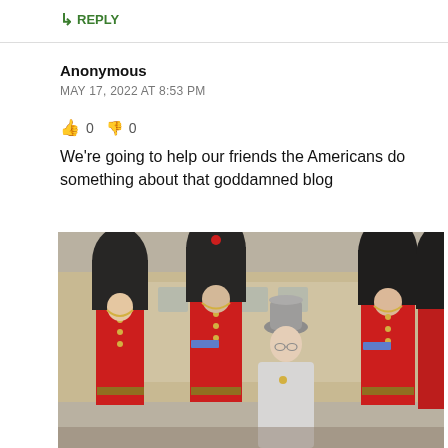↳ REPLY
Anonymous
MAY 17, 2022 AT 8:53 PM
👍 0  👎 0
We're going to help our friends the Americans do something about that goddamned blog
[Figure (photo): Queen Elizabeth II walking surrounded by British Royal Guards in red uniforms and tall black bearskin hats, at what appears to be an outdoor ceremonial event.]